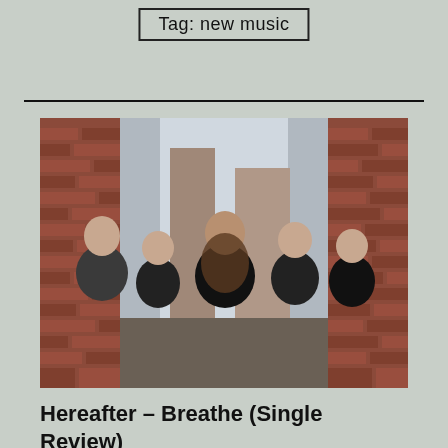Tag: new music
[Figure (photo): Five members of the band Hereafter posing in a brick alleyway. From left to right: a person in a grey and black hoodie with a beanie, a shorter person with glasses, a tall person with long hair and a beard in the center, a person with medium-length hair, and a person with short hair crossing their arms. All are wearing dark clothing.]
Hereafter – Breathe (Single Review)